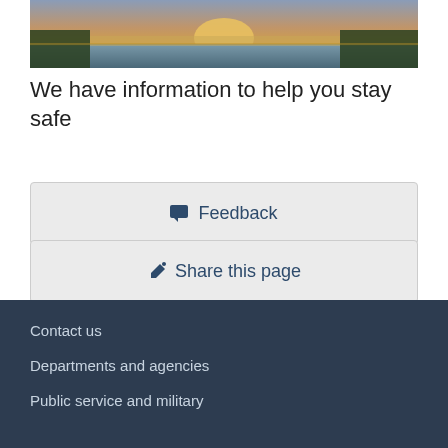[Figure (photo): Landscape photo showing a sunset or dramatic sky over a body of water with trees in the foreground]
We have information to help you stay safe
Feedback
Share this page
Date modified: 2022-08-22
Contact us
Departments and agencies
Public service and military